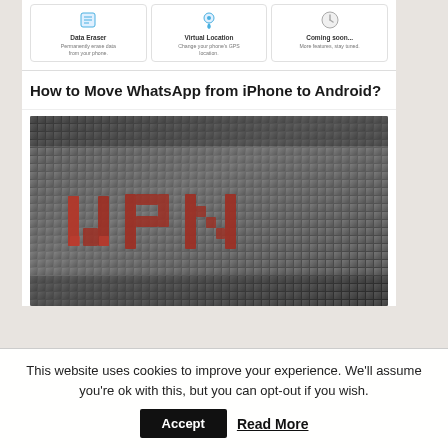[Figure (screenshot): Three feature cards showing Data Eraser, Virtual Location, and Coming Soon options with icons]
How to Move WhatsApp from iPhone to Android?
[Figure (photo): Close-up photo of 3D pixel blocks forming the letters VPN in red, on a gray blocky background]
This website uses cookies to improve your experience. We'll assume you're ok with this, but you can opt-out if you wish.
Accept
Read More